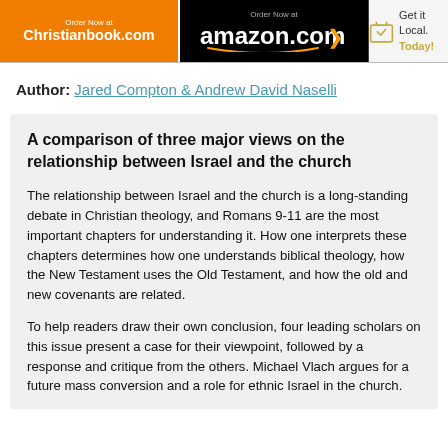[Figure (screenshot): Top banner with three book retailer links: Christianbook.com (orange), amazon.com (black), and Get it Local. Today! (light gray with book icon)]
Author: Jared Compton & Andrew David Naselli
A comparison of three major views on the relationship between Israel and the church
The relationship between Israel and the church is a long-standing debate in Christian theology, and Romans 9-11 are the most important chapters for understanding it. How one interprets these chapters determines how one understands biblical theology, how the New Testament uses the Old Testament, and how the old and new covenants are related.
To help readers draw their own conclusion, four leading scholars on this issue present a case for their viewpoint, followed by a response and critique from the others. Michael Vlach argues for a future mass conversion and a role for ethnic Israel in the church.